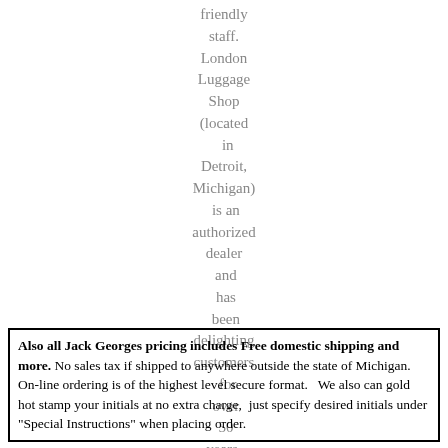friendly staff. London Luggage Shop (located in Detroit, Michigan) is an authorized dealer and has been delighting customers for over 50 years.
Also all Jack Georges pricing includes Free domestic shipping and more. No sales tax if shipped to anywhere outside the state of Michigan. On-line ordering is of the highest level secure format. We also can gold hot stamp your initials at no extra charge, just specify desired initials under "Special Instructions" when placing order.